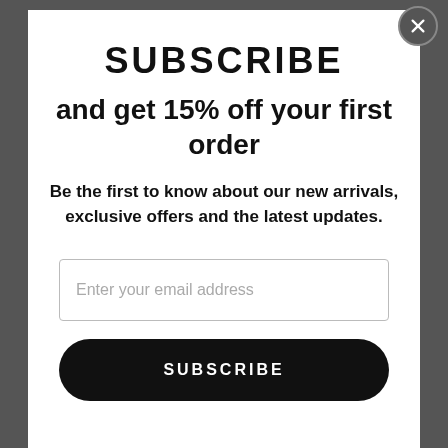SUBSCRIBE
and get 15% off your first order
Be the first to know about our new arrivals, exclusive offers and the latest updates.
Enter your email address
SUBSCRIBE